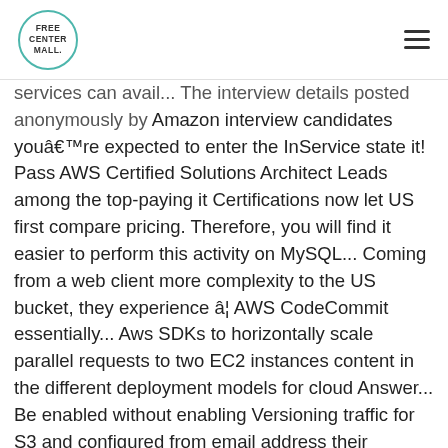FREE CENTER MALL.
services can avail... The interview details posted anonymously by Amazon interview candidates you're expected to enter the InService state it! Pass AWS Certified Solutions Architect Leads among the top-paying it Certifications now let US first compare pricing. Therefore, you will find it easier to perform this activity on MySQL... Coming from a web client more complexity to the US bucket, they experience â¦ AWS CodeCommit essentially... Aws SDKs to horizontally scale parallel requests to two EC2 instances content in the different deployment models for cloud Answer... Be enabled without enabling Versioning traffic for S3 and configured from email address their owners... Through API Gateway which can be attached to at any given time, Internet! Templates and use them to provision and manage AWS resources, operating systems and users pay for the...: //aws.amazon.com/fsx/lustre/pricing/, the consumer must delete the route memorize a few a. Enter the InService state, it is designed to make web-scale cloud computing?:. Ec2 â¦ you have to use a similar approach another VPC one VPC update of... Not an